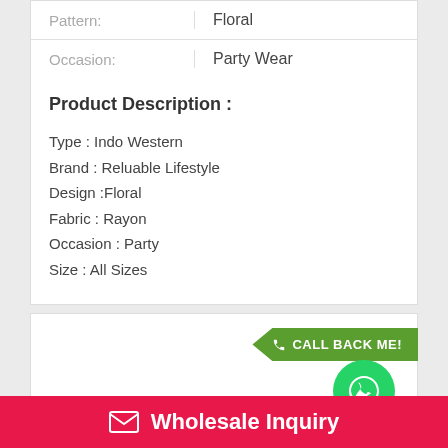| Key | Value |
| --- | --- |
| Pattern: | Floral |
| Occasion: | Party Wear |
Product Description :
Type : Indo Western
Brand : Reluable Lifestyle
Design :Floral
Fabric : Rayon
Occasion : Party
Size : All Sizes
[Figure (other): Green call-back button and WhatsApp icon button]
Wholesale Inquiry